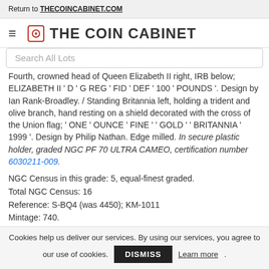Return to THECOINCABINET.COM
THE COIN CABINET
Search All Lots
Fourth, crowned head of Queen Elizabeth II right, IRB below; ELIZABETH II ' D ' G REG ' FID ' DEF ' 100 ' POUNDS '. Design by Ian Rank-Broadley. / Standing Britannia left, holding a trident and olive branch, hand resting on a shield decorated with the cross of the Union flag; ' ONE ' OUNCE ' FINE ' ' GOLD ' ' BRITANNIA ' 1999 '. Design by Philip Nathan. Edge milled. In secure plastic holder, graded NGC PF 70 ULTRA CAMEO, certification number 6030211-009.
NGC Census in this grade: 5, equal-finest graded.
Total NGC Census: 16
Reference: S-BQ4 (was 4450); KM-1011
Mintage: 740.
Diameter: 32.6 mm.
Weight: 34.05 g. (AGW=1 oz.)
Composition: 917.0/1000 Gold.
PLEASE NOTE: 5% Buyer Premium + VAT...
Cookies help us deliver our services. By using our services, you agree to our use of cookies. DISMISS Learn more.